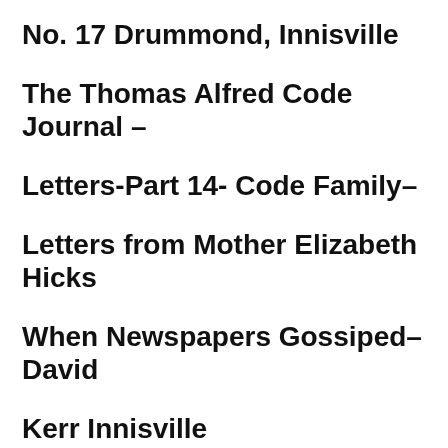No. 17 Drummond, Innisville
The Thomas Alfred Code Journal –
Letters-Part 14- Code Family–
Letters from Mother Elizabeth Hicks
When Newspapers Gossiped–David
Kerr Innisville